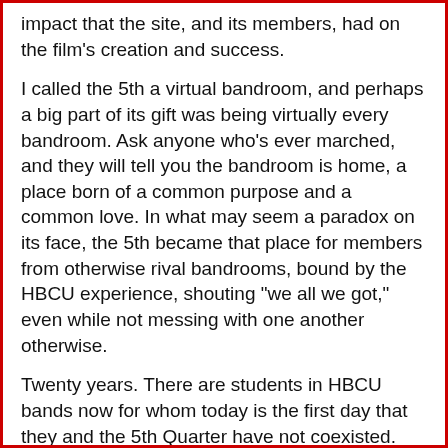impact that the site, and its members, had on the film's creation and success.
I called the 5th a virtual bandroom, and perhaps a big part of its gift was being virtually every bandroom. Ask anyone who's ever marched, and they will tell you the bandroom is home, a place born of a common purpose and a common love. In what may seem a paradox on its face, the 5th became that place for members from otherwise rival bandrooms, bound by the HBCU experience, shouting "we all we got," even while not messing with one another otherwise.
Twenty years. There are students in HBCU bands now for whom today is the first day that they and the 5th Quarter have not coexisted.
Those of us who profess to cover marching and athletic music online must recognize the 5th as our pioneer, griot, and elder statesman. The home they created made that which many of us continue possible. The landscape is now rich for HBCU bands specifically, and all marching bands